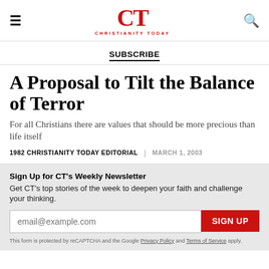CT CHRISTIANITY TODAY
SUBSCRIBE
A Proposal to Tilt the Balance of Terror
For all Christians there are values that should be more precious than life itself
1982 CHRISTIANITY TODAY EDITORIAL | MARCH 1, 2003
Sign Up for CT's Weekly Newsletter
Get CT's top stories of the week to deepen your faith and challenge your thinking.
email@example.com
SIGN UP
This form is protected by reCAPTCHA and the Google Privacy Policy and Terms of Service apply.